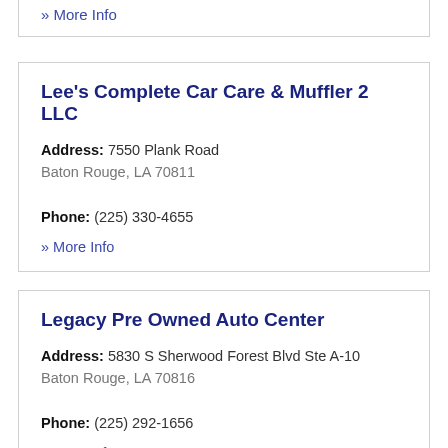» More Info
Lee's Complete Car Care & Muffler 2 LLC
Address: 7550 Plank Road
Baton Rouge, LA 70811
Phone: (225) 330-4655
» More Info
Legacy Pre Owned Auto Center
Address: 5830 S Sherwood Forest Blvd Ste A-10
Baton Rouge, LA 70816
Phone: (225) 292-1656
» More Info